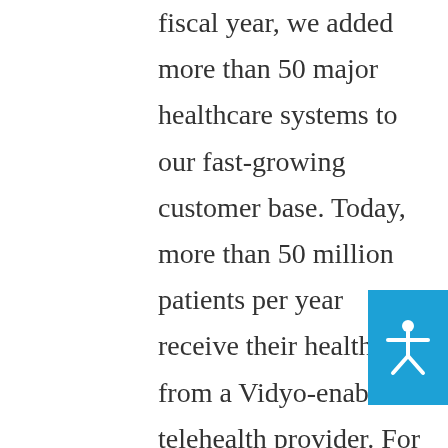fiscal year, we added more than 50 major healthcare systems to our fast-growing customer base. Today, more than 50 million patients per year receive their healthcare from a Vidyo-enabled telehealth provider. For example, healthcare systems using remote ICU monitoring services delivered by Advanced ICU Care (which leverages Philips eCareManager, powered by the Vidyo platform) handled more than one million telehealth interactions last year alone.

Instead of relying on generic, siloed collaboration solutions, healthcare providers are turning to Vidyo so that they can keep patient data and visual communications in a
[Figure (illustration): Blue accessibility icon button showing a white human figure with arms outstretched, positioned on the right side of the page]